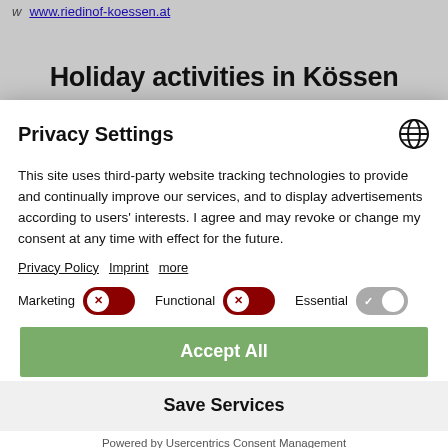w  www.riedinof-koessen.at
Holiday activities in Kössen
Privacy Settings
This site uses third-party website tracking technologies to provide and continually improve our services, and to display advertisements according to users' interests. I agree and may revoke or change my consent at any time with effect for the future.
Privacy Policy  Imprint  more
Marketing  [toggle off]  Functional  [toggle off]  Essential  [toggle on]
Accept All
Save Services
Powered by Usercentrics Consent Management